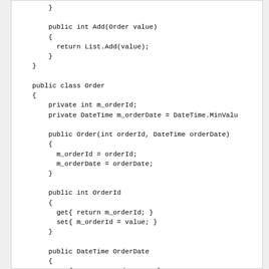Code snippet showing C# class definitions for Order and related Add method, including fields m_orderId and m_orderDate, constructor, and properties OrderId and OrderDate with get/set accessors.